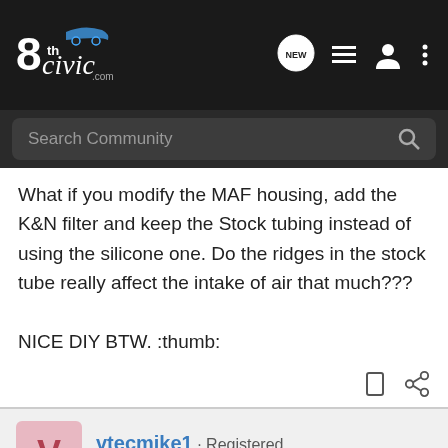8thCivic.com - Search Community
What if you modify the MAF housing, add the K&N filter and keep the Stock tubing instead of using the silicone one. Do the ridges in the stock tube really affect the intake of air that much???

NICE DIY BTW. :thumb:
vtecmike1 · Registered
Joined Nov 7, 2007 · 3,950 Posts
#15 · Dec 28, 2007
i think what he meant by the ridges of the stock tube is it would